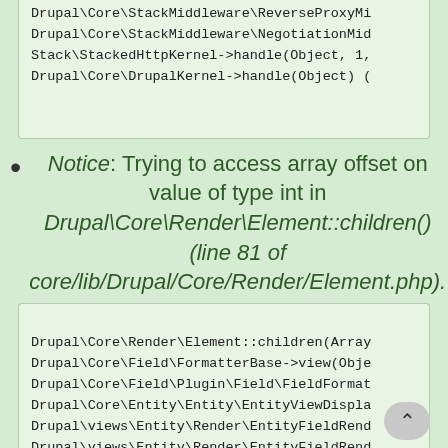Drupal\Core\StackMiddleware\ReverseProxyMi
Drupal\Core\StackMiddleware\NegotiationMid
Stack\StackedHttpKernel->handle(Object, 1,
Drupal\Core\DrupalKernel->handle(Object) (
Notice: Trying to access array offset on value of type int in Drupal\Core\Render\Element::children() (line 81 of core/lib/Drupal/Core/Render/Element.php).
Drupal\Core\Render\Element::children(Array
Drupal\Core\Field\FormatterBase->view(Obje
Drupal\Core\Field\Plugin\Field\FieldFormat
Drupal\Core\Entity\Entity\EntityViewDispla
Drupal\views\Entity\Render\EntityFieldRend
Drupal\views\Entity\Render\EntityFieldRend
Drupal\views\Plugin\views\field\EntityFie\
Drupal\views\Plugin\views\field\FieldPlu
template_preprocess_views_view_field(Array